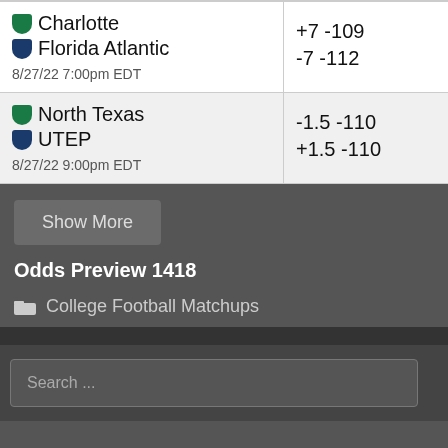| Matchup | Spread / Odds |
| --- | --- |
| Charlotte +7 -109 / Florida Atlantic -7 -112 / 8/27/22 7:00pm EDT | +7 -109 / -7 -112 |
| North Texas -1.5 -110 / UTEP +1.5 -110 / 8/27/22 9:00pm EDT | -1.5 -110 / +1.5 -110 |
Show More
Odds Preview 1418
College Football Matchups
Search ...